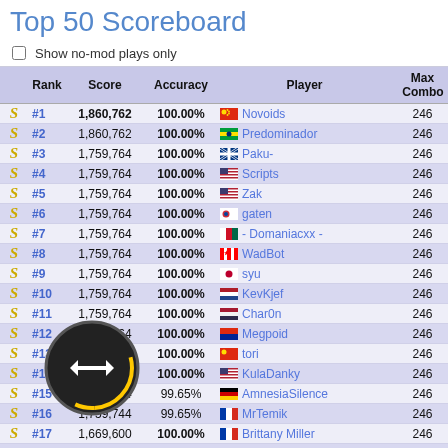Top 50 Scoreboard
Show no-mod plays only
|  | Rank | Score | Accuracy | Player | Max Combo |
| --- | --- | --- | --- | --- | --- |
| S | #1 | 1,860,762 | 100.00% | Novoids | 246 |
| S | #2 | 1,860,762 | 100.00% | Predominador | 246 |
| S | #3 | 1,759,764 | 100.00% | Paku- | 246 |
| S | #4 | 1,759,764 | 100.00% | Scripts | 246 |
| S | #5 | 1,759,764 | 100.00% | Zak | 246 |
| S | #6 | 1,759,764 | 100.00% | gaten | 246 |
| S | #7 | 1,759,764 | 100.00% | - Domaniacxx - | 246 |
| S | #8 | 1,759,764 | 100.00% | WadBot | 246 |
| S | #9 | 1,759,764 | 100.00% | syu | 246 |
| S | #10 | 1,759,764 | 100.00% | KevKjef | 246 |
| S | #11 | 1,759,764 | 100.00% | Char0n | 246 |
| S | #12 | 1,759,764 | 100.00% | Megpoid | 246 |
| S | #13 | 1,759,764 | 100.00% | tori | 246 |
| S | #14 | 1,759,764 | 100.00% | KulaDanky | 246 |
| S | #15 | 1,759,744 | 99.65% | AmnesiaSilence | 246 |
| S | #16 | 1,759,744 | 99.65% | MrTemik | 246 |
| S | #17 | 1,669,600 | 100.00% | Brittany Miller | 246 |
| S | #18 | 1,669,600 | 100.00% | Alyzhie | 246 |
| S | #19 | 1,669,600 | 100.00% | FruktoLove | 246 |
| S | #20 | 1,669,600 | 100.00% | Komekko | 246 |
| S | #21 | 1,669,600 | 100.00% | nemousu1234 | 246 |
| S | #22 | 1,669,600 | 100.00% | [ Ajia ] | 246 |
| S | #23 | 1,669,600 | 100.00% | braquisto | 246 |